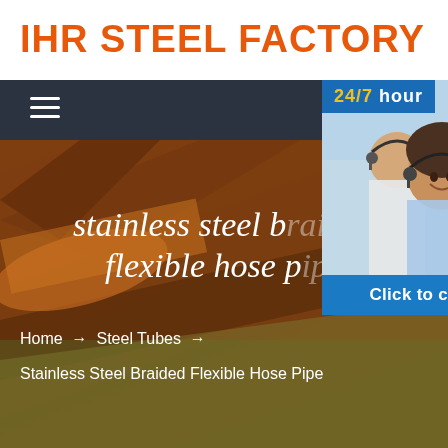IHR STEEL FACTORY
[Figure (screenshot): Dark navigation bar with hamburger menu icon (three white horizontal lines)]
[Figure (photo): Background showing steel/industrial materials in orange and yellow tones]
[Figure (photo): Customer service representatives with headsets (man and woman smiling), with 24/7 hour badge overlay and three blue icon buttons (headset, phone, Skype) and Click to chat bar]
stainless steel braided flexible hose pipe
Home → Steel Tubes → Stainless Steel Braided Flexible Hose Pipe